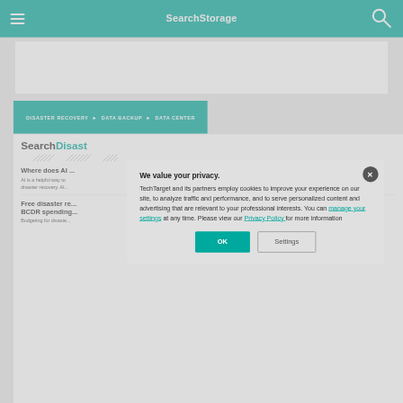SearchStorage
DISASTER RECOVERY  DATA BACKUP  DATA CENTER
SearchDisast...
Where does AI ...
AI is a helpful way to ... disaster recovery. Al...
Free disaster re... BCDR spending...
Budgeting for disaste...
We value your privacy.
TechTarget and its partners employ cookies to improve your experience on our site, to analyze traffic and performance, and to serve personalized content and advertising that are relevant to your professional interests. You can manage your settings at any time. Please view our Privacy Policy for more information